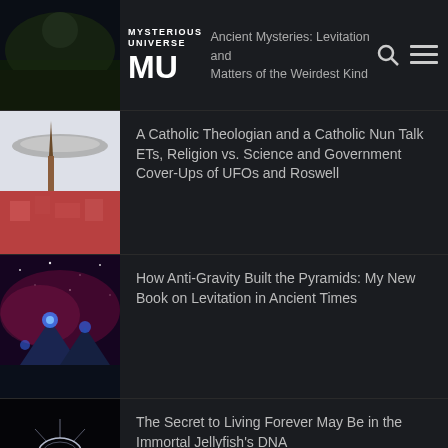MYSTERIOUS UNIVERSE | Ancient Mysteries: Levitation and Matters of the Weirdest Kind
[Figure (screenshot): Website header showing Mysterious Universe logo and article thumbnail with dark landscape]
A Catholic Theologian and a Catholic Nun Talk ETs, Religion vs. Science and Government Cover-Ups of UFOs and Roswell
[Figure (photo): UFO hovering over a church and city rooftops]
How Anti-Gravity Built the Pyramids: My New Book on Levitation in Ancient Times
[Figure (photo): Pyramids illuminated with blue light against starry sky]
The Secret to Living Forever May Be in the Immortal Jellyfish’s DNA
[Figure (photo): Jellyfish against dark background]